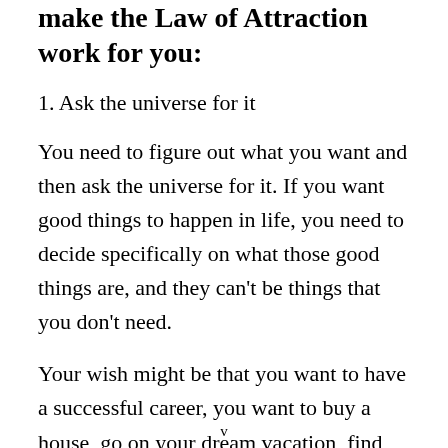make the Law of Attraction work for you:
1. Ask the universe for it
You need to figure out what you want and then ask the universe for it. If you want good things to happen in life, you need to decide specifically on what those good things are, and they can't be things that you don't need.
Your wish might be that you want to have a successful career, you want to buy a house, go on your dream vacation, find the love of your life.. It can
v